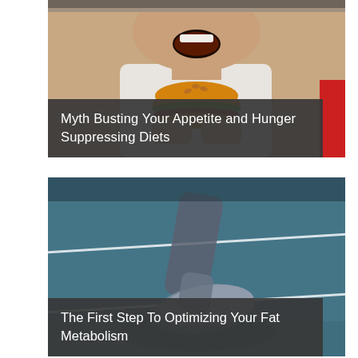[Figure (photo): Man with open mouth about to eat a hamburger, wearing white tank top, photo card with dark title bar overlay]
Myth Busting Your Appetite and Hunger Suppressing Diets
[Figure (photo): Close-up of a running foot/shoe on a blue athletic track, motion blur effect, photo card with dark title bar overlay]
The First Step To Optimizing Your Fat Metabolism